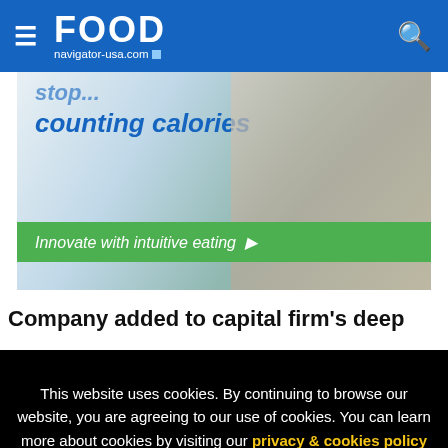FOOD navigator-usa.com
[Figure (photo): Advertisement banner showing a person holding a snack bar with text 'counting calories' and a green call-to-action bar reading 'Innovate with intuitive eating']
Company added to capital firm's deep
This website uses cookies. By continuing to browse our website, you are agreeing to our use of cookies. You can learn more about cookies by visiting our privacy & cookies policy page.
I Agree